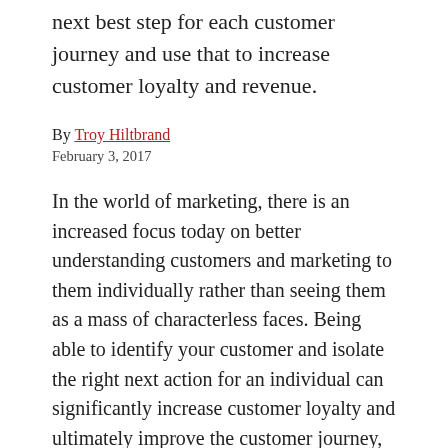next best step for each customer journey and use that to increase customer loyalty and revenue.
By Troy Hiltbrand
February 3, 2017
In the world of marketing, there is an increased focus today on better understanding customers and marketing to them individually rather than seeing them as a mass of characterless faces. Being able to identify your customer and isolate the right next action for an individual can significantly increase customer loyalty and ultimately improve the customer journey, which leads to increased profits.
The challenges are how to determine a customer's next best or next likely action and what to do with that knowledge once you determine it. The next line is cut off.